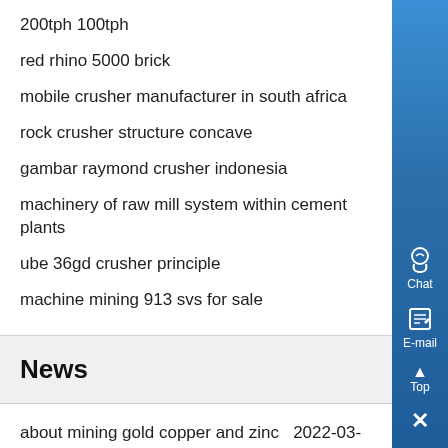200tph 100tph
red rhino 5000 brick
mobile crusher manufacturer in south africa
rock crusher structure concave
gambar raymond crusher indonesia
machinery of raw mill system within cement plants
ube 36gd crusher principle
machine mining 913 svs for sale
News
about mining gold copper and zinc  2022-03-17
used scientific equipment canada  2022-03-16
jaw crusher,detail picture  2022-03-15